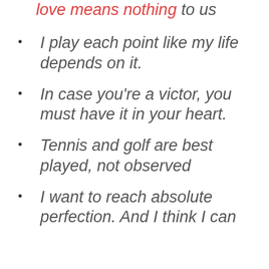love means nothing to us
I play each point like my life depends on it.
In case you're a victor, you must have it in your heart.
Tennis and golf are best played, not observed
I want to reach absolute perfection. And I think I can